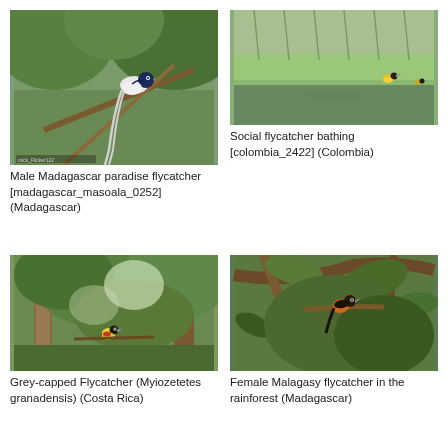[Figure (photo): Male Madagascar paradise flycatcher perched on a branch, with long white tail feathers, against green foliage background]
Male Madagascar paradise flycatcher [madagascar_masoala_0252] (Madagascar)
[Figure (photo): Social flycatcher bathing in shallow water with green reedy bank in the background]
Social flycatcher bathing [colombia_2422] (Colombia)
[Figure (photo): Grey-capped Flycatcher (Myiozetetes granadensis) in a forest setting with green trees]
Grey-capped Flycatcher (Myiozetetes granadensis) (Costa Rica)
[Figure (photo): Female Malagasy flycatcher perched on a branch in the rainforest with green leaves]
Female Malagasy flycatcher in the rainforest (Madagascar)